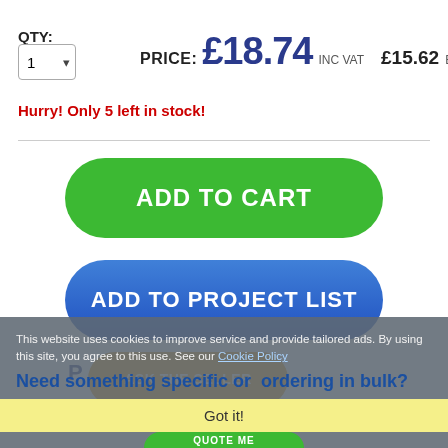QTY:
PRICE: £18.74 INC VAT  £15.62 EX VAT
Hurry! Only 5 left in stock!
[Figure (screenshot): Green 'ADD TO CART' button (rounded pill shape)]
[Figure (screenshot): Blue 'ADD TO PROJECT LIST' button (rounded pill shape)]
[Figure (screenshot): Orange 'ASK THE SELLER' button (rounded pill shape)]
This website uses cookies to improve service and provide tailored ads. By using this site, you agree to this use. See our Cookie Policy
Need something specific or  ordering in bulk?
Got it!